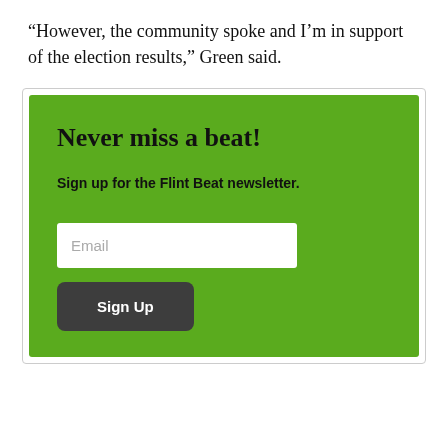“However, the community spoke and I’m in support of the election results,” Green said.
[Figure (infographic): Newsletter signup box with green background. Title: 'Never miss a beat!', subtitle: 'Sign up for the Flint Beat newsletter.', email input field, and a dark 'Sign Up' button.]